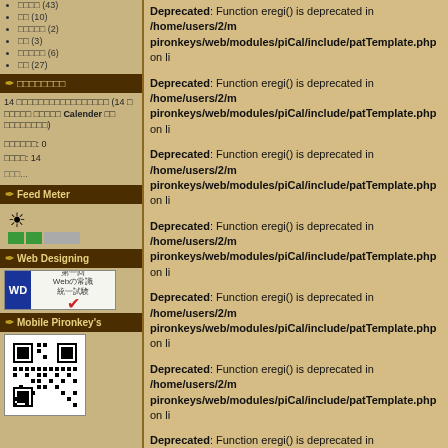□□□□ (43)
□□ (10)
□□□□□ (2)
□□ (3)
□□□□□ (6)
□□ (27)
□□□□□□□□
14 □□□□□□□□□□□□□□□□□ (14 □ □□□□□ □□□□□ Calender □□ □□□□□□□□)
□□□□□□: 0
□□□□: 14
□□□...
Feed Meter
[Figure (other): Feed meter graphic with sun icon and green/gray bars]
Web Designing
[Figure (other): Web Designing first Web test badge with WD logo and checkmark]
Mobile Pironkey's
[Figure (other): QR code image]
Deprecated: Function eregi() is deprecated in /home/users/2/m pironkeys/web/modules/piCal/include/patTemplate.php on li
Deprecated: Function eregi() is deprecated in /home/users/2/m pironkeys/web/modules/piCal/include/patTemplate.php on li
Deprecated: Function eregi() is deprecated in /home/users/2/m pironkeys/web/modules/piCal/include/patTemplate.php on li
Deprecated: Function eregi() is deprecated in /home/users/2/m pironkeys/web/modules/piCal/include/patTemplate.php on li
Deprecated: Function eregi() is deprecated in /home/users/2/m pironkeys/web/modules/piCal/include/patTemplate.php on li
Deprecated: Function eregi() is deprecated in /home/users/2/m pironkeys/web/modules/piCal/include/patTemplate.php on li
Deprecated: Function eregi() is deprecated in /home/users/2/m pironkeys/web/modules/piCal/include/patTemplate.php on li
Deprecated: Function eregi() is deprecated in /home/users/2/m pironkeys/web/modules/piCal/include/patTemplate.php on li
Deprecated: Function eregi() is deprecated in /home/users/2/m pironkeys/web/modules/piCal/include/patTemplate.php on li